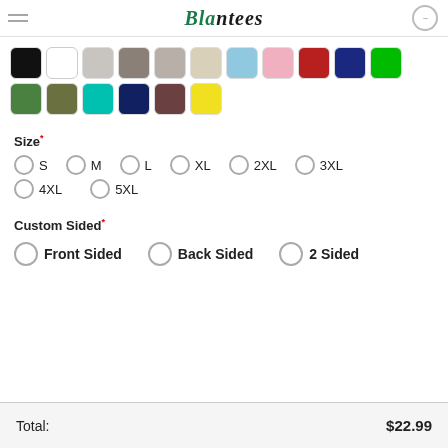Blantees
[Figure (other): Color swatch selector showing 17 color squares in two rows: black, white, light gray, medium gray, light gray-pink, beige, light blue, pink, red, navy, green (row 1); green, olive, cyan, dark navy, brown, yellow (row 2)]
Size*
S
M
L
XL
2XL
3XL
4XL
5XL
Custom Sided*
Front Sided
Back Sided
2 Sided
Total: $22.99